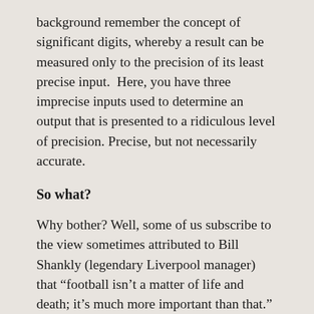background remember the concept of significant digits, whereby a result can be measured only to the precision of its least precise input.  Here, you have three imprecise inputs used to determine an output that is presented to a ridiculous level of precision.  Precise, but not necessarily accurate.
So what?
Why bother? Well, some of us subscribe to the view sometimes attributed to Bill Shankly (legendary Liverpool manager) that “football isn’t a matter of life and death; it’s much more important than that.”  Football fans tend to get a bit excited when officials call back goals